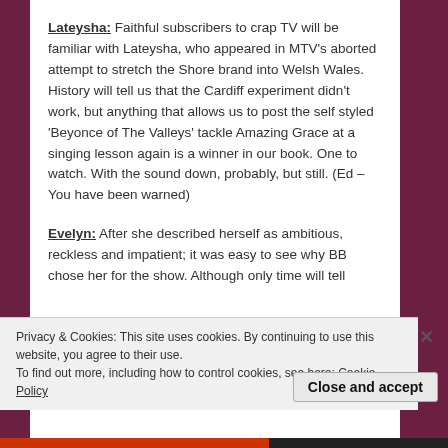Lateysha: Faithful subscribers to crap TV will be familiar with Lateysha, who appeared in MTV's aborted attempt to stretch the Shore brand into Welsh Wales. History will tell us that the Cardiff experiment didn't work, but anything that allows us to post the self styled 'Beyonce of The Valleys' tackle Amazing Grace at a singing lesson again is a winner in our book. One to watch. With the sound down, probably, but still. (Ed – You have been warned)
Evelyn: After she described herself as ambitious, reckless and impatient; it was easy to see why BB chose her for the show. Although only time will tell
Privacy & Cookies: This site uses cookies. By continuing to use this website, you agree to their use.
To find out more, including how to control cookies, see here: Cookie Policy